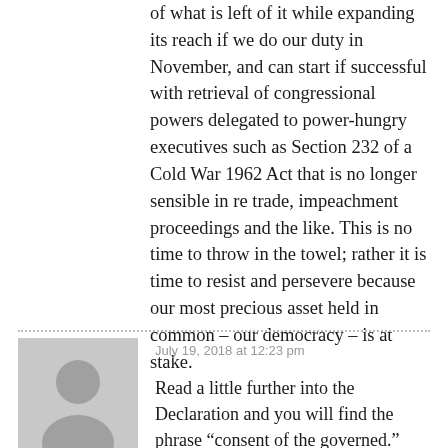of what is left of it while expanding its reach if we do our duty in November, and can start if successful with retrieval of congressional powers delegated to power-hungry executives such as Section 232 of a Cold War 1962 Act that is no longer sensible in re trade, impeachment proceedings and the like. This is no time to throw in the towel; rather it is time to resist and persevere because our most precious asset held in common – our democracy – is at stake.
July 19, 2018 at 12:23 pm
Charlie Belch
Read a little further into the Declaration and you will find the phrase “consent of the governed.” The Kochs and other oligarchs have designed a way to rule without that